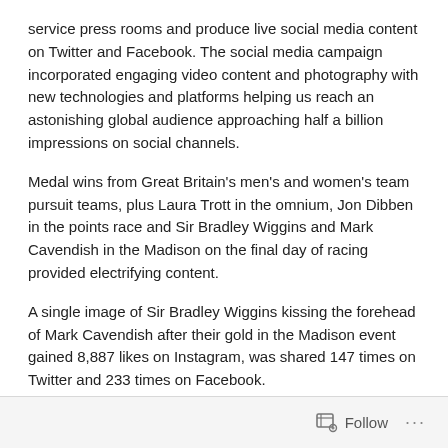service press rooms and produce live social media content on Twitter and Facebook. The social media campaign incorporated engaging video content and photography with new technologies and platforms helping us reach an astonishing global audience approaching half a billion impressions on social channels.
Medal wins from Great Britain's men's and women's team pursuit teams, plus Laura Trott in the omnium, Jon Dibben in the points race and Sir Bradley Wiggins and Mark Cavendish in the Madison on the final day of racing provided electrifying content.
A single image of Sir Bradley Wiggins kissing the forehead of Mark Cavendish after their gold in the Madison event gained 8,887 likes on Instagram, was shared 147 times on Twitter and 233 times on Facebook.
Social coverage was monitored using Facebook Insights and Tweet Binder, which allowed the Twitter statistics to be tracked in real-time. Over 62,000 tweets used the hashtag #TWC2016, reaching 68.9 million people and generating 434,185,086 impacts.
Follow ···